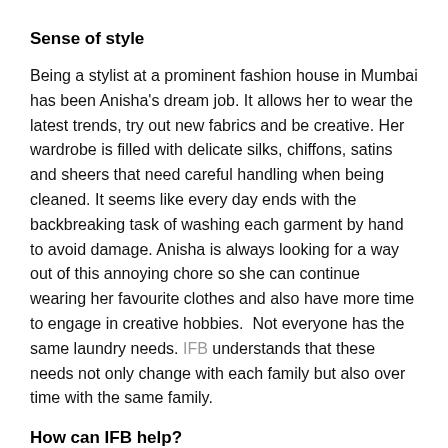Sense of style
Being a stylist at a prominent fashion house in Mumbai has been Anisha's dream job. It allows her to wear the latest trends, try out new fabrics and be creative. Her wardrobe is filled with delicate silks, chiffons, satins and sheers that need careful handling when being cleaned. It seems like every day ends with the backbreaking task of washing each garment by hand to avoid damage. Anisha is always looking for a way out of this annoying chore so she can continue wearing her favourite clothes and also have more time to engage in creative hobbies.  Not everyone has the same laundry needs. IFB understands that these needs not only change with each family but also over time with the same family.
How can IFB help?
There is more to a washing machine than simply putting clothes and detergent in a chute and hoping it will do its